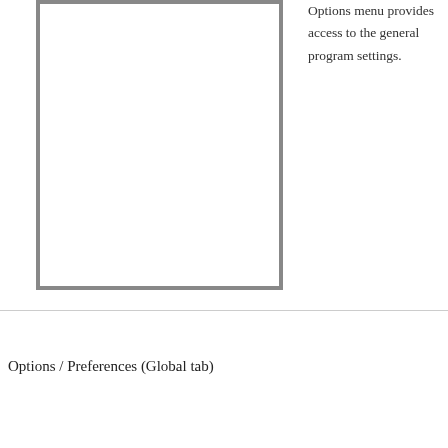[Figure (other): A large empty white rectangle with a gray border, occupying the left portion of the upper area of the page.]
Options menu provides access to the general program settings.
Options / Preferences (Global tab)